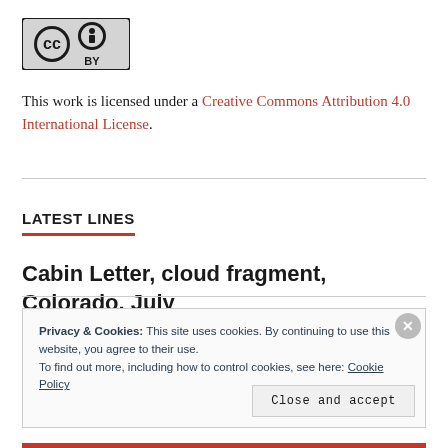[Figure (logo): Creative Commons BY license logo with CC and person icons]
This work is licensed under a Creative Commons Attribution 4.0 International License.
LATEST LINES
Cabin Letter, cloud fragment, Colorado, July
Privacy & Cookies: This site uses cookies. By continuing to use this website, you agree to their use.
To find out more, including how to control cookies, see here: Cookie Policy